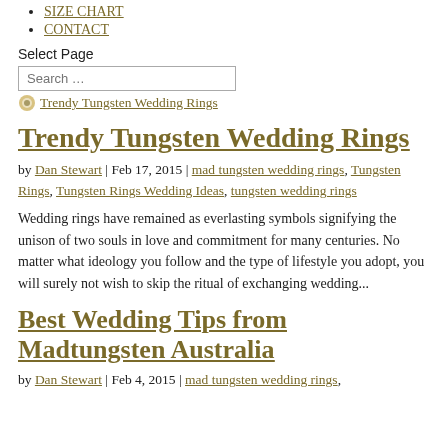SIZE CHART
CONTACT
Select Page
Search …
[Figure (logo): Trendy Tungsten Wedding Rings logo icon with link text]
Trendy Tungsten Wedding Rings
by Dan Stewart | Feb 17, 2015 | mad tungsten wedding rings, Tungsten Rings, Tungsten Rings Wedding Ideas, tungsten wedding rings
Wedding rings have remained as everlasting symbols signifying the unison of two souls in love and commitment for many centuries. No matter what ideology you follow and the type of lifestyle you adopt, you will surely not wish to skip the ritual of exchanging wedding...
Best Wedding Tips from Madtungsten Australia
by Dan Stewart | Feb 4, 2015 | mad tungsten wedding rings,